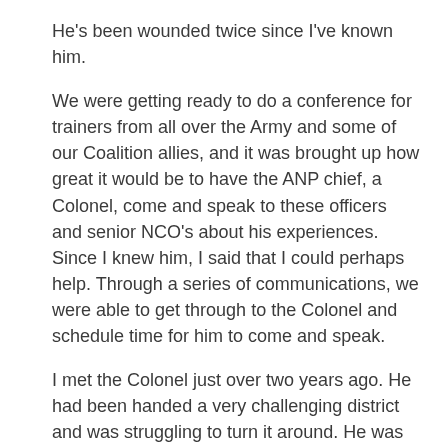He's been wounded twice since I've known him.
We were getting ready to do a conference for trainers from all over the Army and some of our Coalition allies, and it was brought up how great it would be to have the ANP chief, a Colonel, come and speak to these officers and senior NCO's about his experiences. Since I knew him, I said that I could perhaps help. Through a series of communications, we were able to get through to the Colonel and schedule time for him to come and speak.
I met the Colonel just over two years ago. He had been handed a very challenging district and was struggling to turn it around. He was cheerful, soft-spoken and, I was to learn, fearless. Whenever word came of ANP troops involved in a fight, he gathered more ANP soldiers and ran towards the sound of the guns. He was wounded and nearly lost his hand in one fight. An American medic twice braved fire to run the length of the convoy